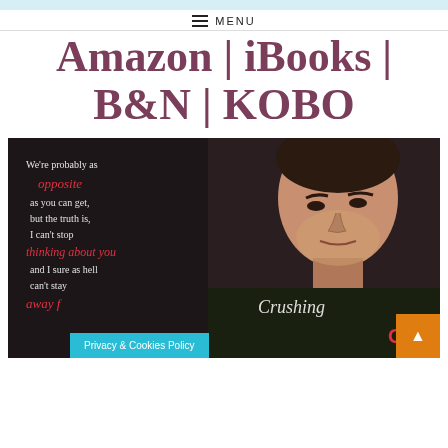MENU
Amazon | iBooks | B&N | KOBO
[Figure (photo): Promotional book image showing an attractive man with dark hair and stubble, overlaid with a romantic quote: "We're probably as opposite as you can get, but the truth is, I can't stop thinking about you and I sure as hell can't stay away from you" with some text in red italic and some in white, and a book title 'Crushing' visible in the lower right.]
Privacy & Cookies Policy